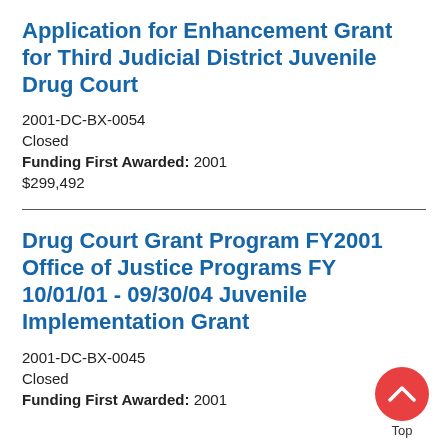Application for Enhancement Grant for Third Judicial District Juvenile Drug Court
2001-DC-BX-0054
Closed
Funding First Awarded: 2001
$299,492
Drug Court Grant Program FY2001 Office of Justice Programs FY 10/01/01 - 09/30/04 Juvenile Implementation Grant
2001-DC-BX-0045
Closed
Funding First Awarded: 2001